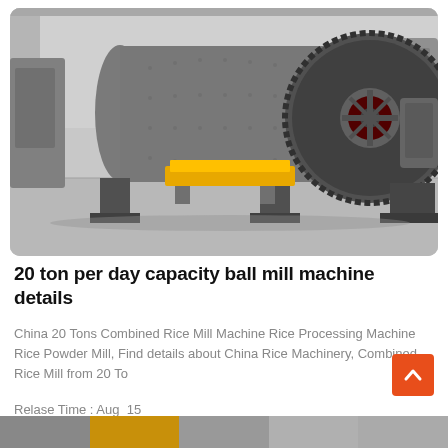[Figure (photo): Large industrial ball mill machine with a long cylindrical grey drum, large gear wheel on the right side, mounted on a concrete floor inside a factory/warehouse. A yellow platform trolley is visible underneath. The machine appears to be a heavy-duty grinding mill used in mining or processing industries.]
20 ton per day capacity ball mill machine details
China 20 Tons Combined Rice Mill Machine Rice Processing Machine Rice Powder Mill, Find details about China Rice Machinery, Combined Rice Mill from 20 To
Relase Time : Aug_15